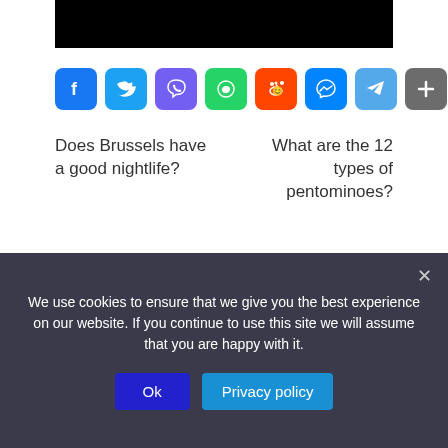[Figure (screenshot): Black banner/image bar at top of page]
[Figure (infographic): Row of social sharing icon buttons: Facebook, Twitter, Viber, WhatsApp, Reddit, Messenger, Telegram, Share]
Does Brussels have a good nightlife?
What are the 12 types of pentominoes?
We use cookies to ensure that we give you the best experience on our website. If you continue to use this site we will assume that you are happy with it.